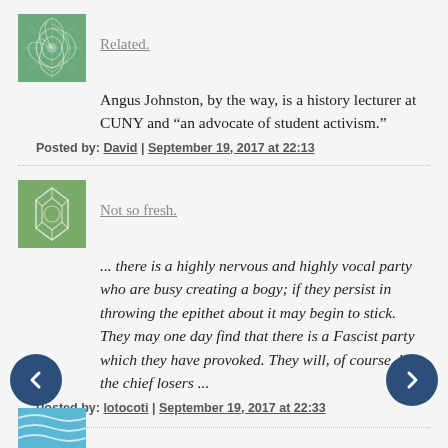[Figure (illustration): Green swirling pattern avatar icon for user 'Related.']
Related.
Angus Johnston, by the way, is a history lecturer at CUNY and “an advocate of student activism.”
Posted by: David | September 19, 2017 at 22:13
[Figure (illustration): Green geometric/soccer ball pattern avatar icon for user 'Not so fresh.']
Not so fresh.
... there is a highly nervous and highly vocal party who are busy creating a bogy; if they persist in throwing the epithet about it may begin to stick. They may one day find that there is a Fascist party which they have provoked. They will, of course, be the chief losers ...
Posted by: lotocoti | September 19, 2017 at 22:33